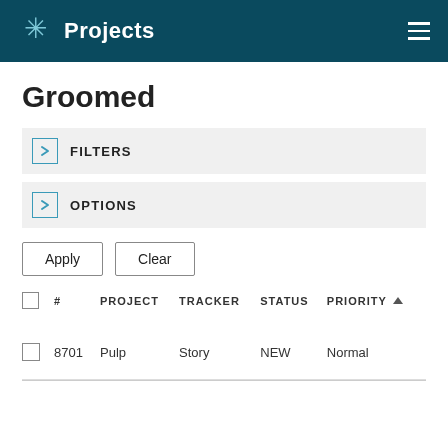Projects
Groomed
FILTERS
OPTIONS
Apply
Clear
|  | # | PROJECT | TRACKER | STATUS | PRIORITY |
| --- | --- | --- | --- | --- | --- |
|  | 8701 | Pulp | Story | NEW | Normal |